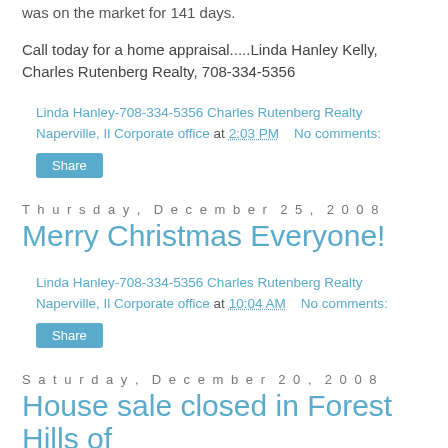was on the market for 141 days.
Call today for a home appraisal.....Linda Hanley Kelly, Charles Rutenberg Realty, 708-334-5356
Linda Hanley-708-334-5356 Charles Rutenberg Realty Naperville, Il Corporate office at 2:03 PM    No comments:
Share
Thursday, December 25, 2008
Merry Christmas Everyone!
Linda Hanley-708-334-5356 Charles Rutenberg Realty Naperville, Il Corporate office at 10:04 AM    No comments:
Share
Saturday, December 20, 2008
House sale closed in Forest Hills of